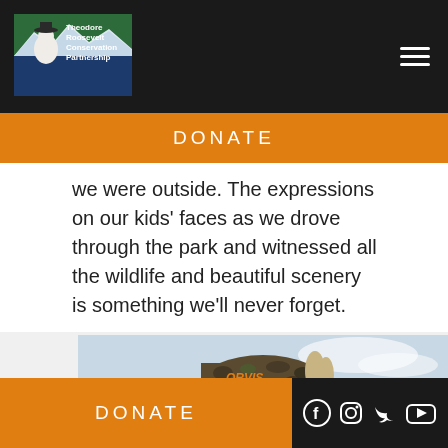Theodore Roosevelt Conservation Partnership
DONATE
we were outside. The expressions on our kids' faces as we drove through the park and witnessed all the wildlife and beautiful scenery is something we'll never forget.
[Figure (photo): Close-up photograph of a man wearing a camouflage Orvis baseball cap outdoors with green foliage and sky in background]
DONATE  [Facebook] [Instagram] [Twitter] [YouTube]